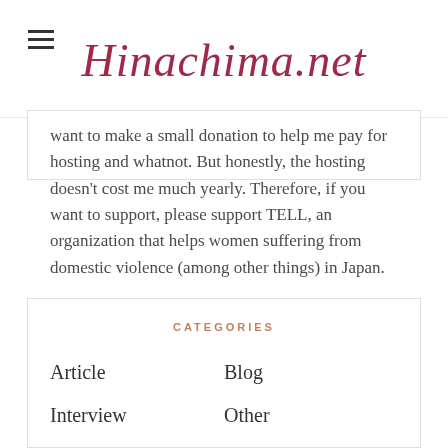Hinachima.net
want to make a small donation to help me pay for hosting and whatnot. But honestly, the hosting doesn't cost me much yearly. Therefore, if you want to support, please support TELL, an organization that helps women suffering from domestic violence (among other things) in Japan.
DONATE NOW
CATEGORIES
Article
Blog
Interview
Other